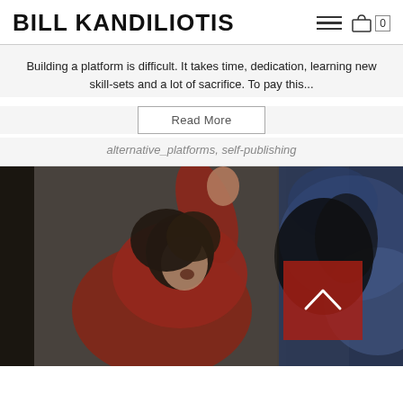BILL KANDILIOTIS
Building a platform is difficult. It takes time, dedication, learning new skill-sets and a lot of sacrifice. To pay this...
Read More
alternative_platforms, self-publishing
[Figure (photo): A person with curly hair wearing a red jacket pressing against a wet surface, with smoke or mist in the background and a red overlay element with a scroll arrow.]